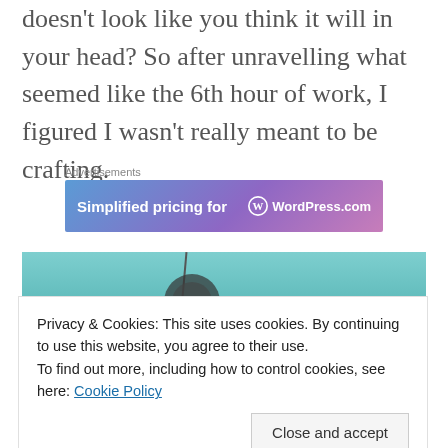doesn't look like you think it will in your head? So after unravelling what seemed like the 6th hour of work, I figured I wasn't really meant to be crafting.
Advertisements
[Figure (screenshot): WordPress.com advertisement banner with text 'Simplified pricing for' and WordPress.com logo on a blue-purple gradient background]
[Figure (photo): Photo of a knitting or crafting project against a teal/blue-green background]
Privacy & Cookies: This site uses cookies. By continuing to use this website, you agree to their use.
To find out more, including how to control cookies, see here: Cookie Policy
[Close and accept button]